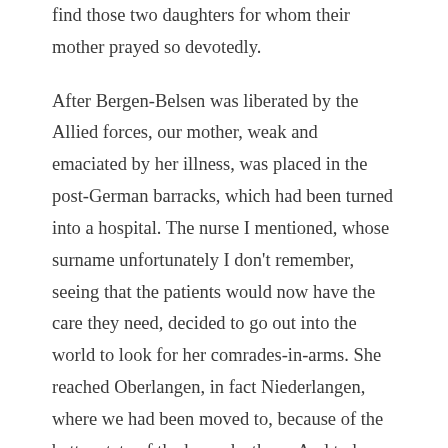find those two daughters for whom their mother prayed so devotedly.
After Bergen-Belsen was liberated by the Allied forces, our mother, weak and emaciated by her illness, was placed in the post-German barracks, which had been turned into a hospital. The nurse I mentioned, whose surname unfortunately I don't remember, seeing that the patients would now have the care they need, decided to go out into the world to look for her comrades-in-arms. She reached Oberlangen, in fact Niederlangen, where we had been moved to, because of the better state of the barracks there. And to her joy, and of course to ours, she found us and gave us the news about our mother.
We were still so excited about having been liberated by